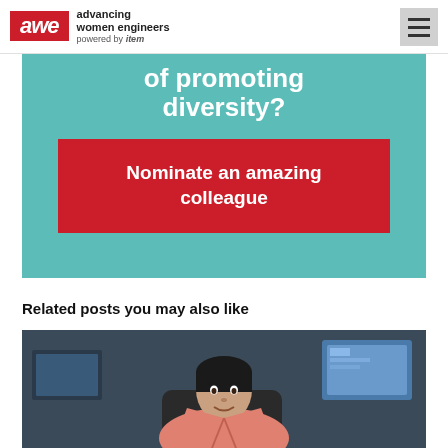awe advancing women engineers powered by item
of promoting diversity?
Nominate an amazing colleague
Related posts you may also like
[Figure (photo): Woman in coral/salmon blazer sitting at a desk with computer monitors in the background, smiling at the camera in an office environment]